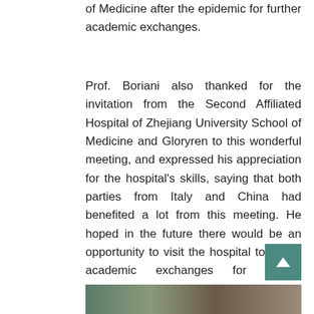of Medicine after the epidemic for further academic exchanges.
Prof. Boriani also thanked for the invitation from the Second Affiliated Hospital of Zhejiang University School of Medicine and Gloryren to this wonderful meeting, and expressed his appreciation for the hospital’s skills, saying that both parties from Italy and China had benefited a lot from this meeting. He hoped in the future there would be an opportunity to visit the hospital to closer academic exchanges for mutual improvements.
[Figure (photo): Partial photo strip visible at bottom of page]